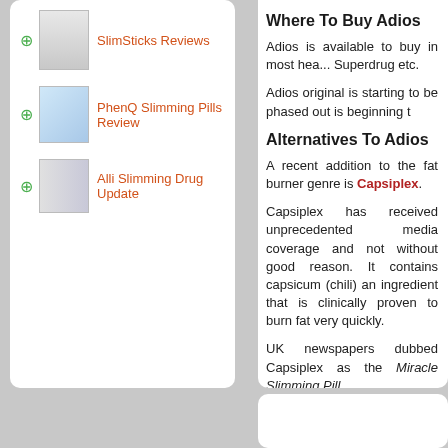SlimSticks Reviews
PhenQ Slimming Pills Review
Alli Slimming Drug Update
Where To Buy Adios
Adios is available to buy in most hea... Superdrug etc.
Adios original is starting to be phased out is beginning t
Alternatives To Adios
A recent addition to the fat burner genre is Capsiplex.
Capsiplex has received unprecedented media coverage and not without good reason. It contains capsicum (chili) an ingredient that is clinically proven to burn fat very quickly.
UK newspapers dubbed Capsiplex as the Miracle Slimming Pill.
More about Capsiplex